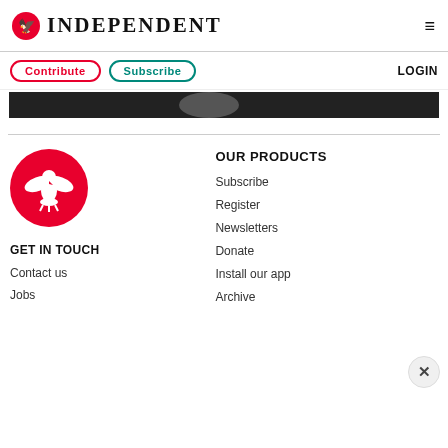INDEPENDENT
Contribute  Subscribe  LOGIN
[Figure (photo): Partial image strip showing a dark background with a person visible]
[Figure (logo): The Independent logo — red circle with white eagle/bird illustration]
GET IN TOUCH
Contact us
Jobs
OUR PRODUCTS
Subscribe
Register
Newsletters
Donate
Install our app
Archive